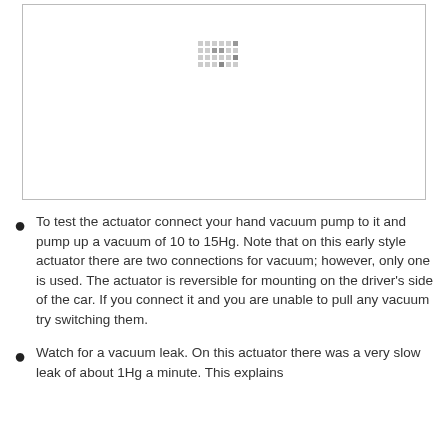[Figure (photo): Large image placeholder (blank/loading) with a small pixel-art dot-pattern icon centered near the top, indicating an image that has not loaded.]
To test the actuator connect your hand vacuum pump to it and pump up a vacuum of 10 to 15Hg. Note that on this early style actuator there are two connections for vacuum; however, only one is used. The actuator is reversible for mounting on the driver's side of the car. If you connect it and you are unable to pull any vacuum try switching them.
Watch for a vacuum leak. On this actuator there was a very slow leak of about 1Hg a minute. This explains